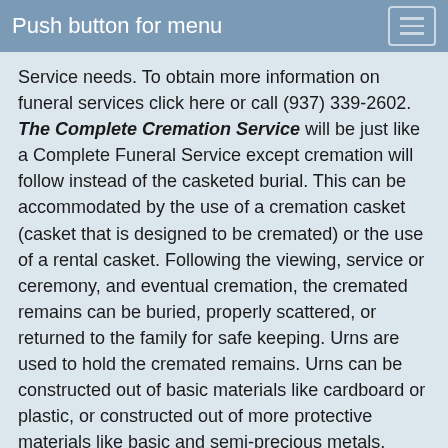Push button for menu
Service needs. To obtain more information on funeral services click here or call (937) 339-2602.
The Complete Cremation Service will be just like a Complete Funeral Service except cremation will follow instead of the casketed burial. This can be accommodated by the use of a cremation casket (casket that is designed to be cremated) or the use of a rental casket. Following the viewing, service or ceremony, and eventual cremation, the cremated remains can be buried, properly scattered, or returned to the family for safe keeping. Urns are used to hold the cremated remains. Urns can be constructed out of basic materials like cardboard or plastic, or constructed out of more protective materials like basic and semi-precious metals, ceramics, and woods.